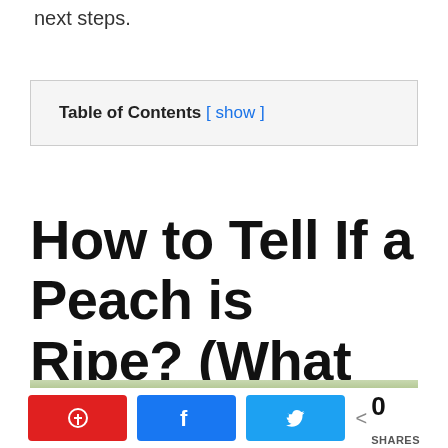next steps.
| Table of Contents [ show ] |
| --- |
How to Tell If a Peach is Ripe? (What Are The Signs?)
[Figure (photo): Partial photo of green leaves/peach plant at bottom of page]
[Figure (infographic): Social share bar with Pinterest (red), Facebook (blue), Twitter (blue) buttons and share count showing 0 SHARES]